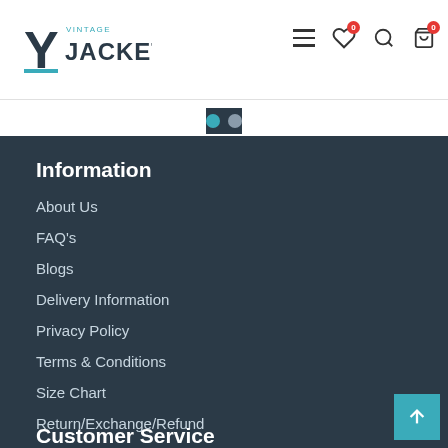[Figure (logo): Vintage Jackets logo with stylized Y and text]
[Figure (screenshot): Navigation icons: hamburger menu, heart wishlist (0), search, shopping bag (0)]
[Figure (infographic): Carousel pagination dots: blue active dot and gray inactive dot]
Information
About Us
FAQ's
Blogs
Delivery Information
Privacy Policy
Terms & Conditions
Size Chart
Return/Exchange/Refund
Customer Service